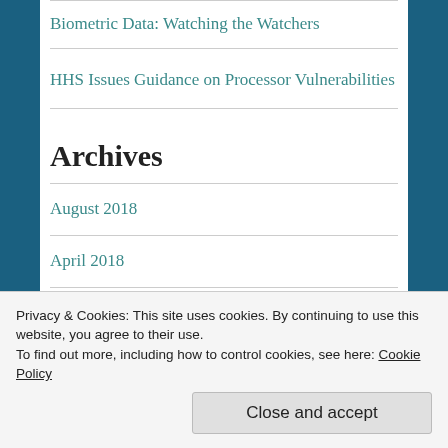Biometric Data: Watching the Watchers
HHS Issues Guidance on Processor Vulnerabilities
Archives
August 2018
April 2018
Privacy & Cookies: This site uses cookies. By continuing to use this website, you agree to their use.
To find out more, including how to control cookies, see here: Cookie Policy
Close and accept